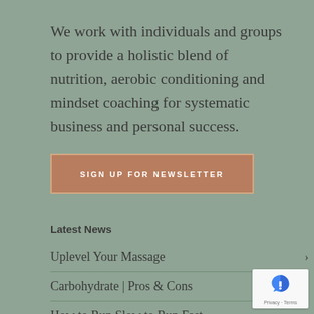We work with individuals and groups to provide a holistic blend of nutrition, aerobic conditioning and mindset coaching for systematic business and personal success.
SIGN UP FOR NEWSLETTER
Latest News
Uplevel Your Massage
Carbohydrate | Pros & Cons
How to Run Slow to Run Fast